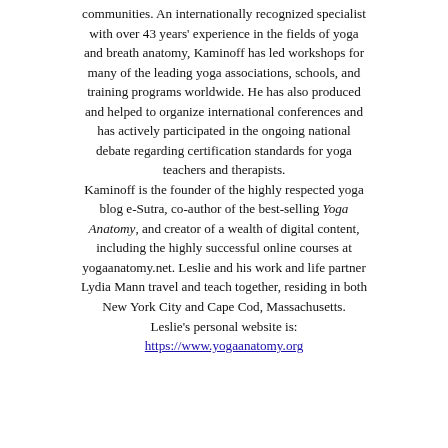communities. An internationally recognized specialist with over 43 years' experience in the fields of yoga and breath anatomy, Kaminoff has led workshops for many of the leading yoga associations, schools, and training programs worldwide. He has also produced and helped to organize international conferences and has actively participated in the ongoing national debate regarding certification standards for yoga teachers and therapists. Kaminoff is the founder of the highly respected yoga blog e-Sutra, co-author of the best-selling Yoga Anatomy, and creator of a wealth of digital content, including the highly successful online courses at yogaanatomy.net. Leslie and his work and life partner Lydia Mann travel and teach together, residing in both New York City and Cape Cod, Massachusetts. Leslie's personal website is: https://www.yogaanatomy.org